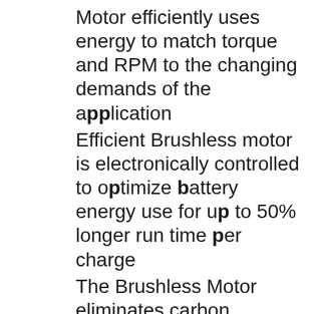Motor efficiently uses energy to match torque and RPM to the changing demands of the application
Efficient Brushless motor is electronically controlled to optimize battery energy use for up to 50% longer run time per charge
The Brushless Motor eliminates carbon brushes, enabling the BL Motor to run cooler and more efficiently for longer life
2-Mode operation for "Rotation Only" or "Hammering with Rotation" for multiple applications
Variable speed trigger enables user to match the speed to application for greater versatility
Built-in L.E.D. light illuminates the work area
One-touch sliding chuck for easy bit changes